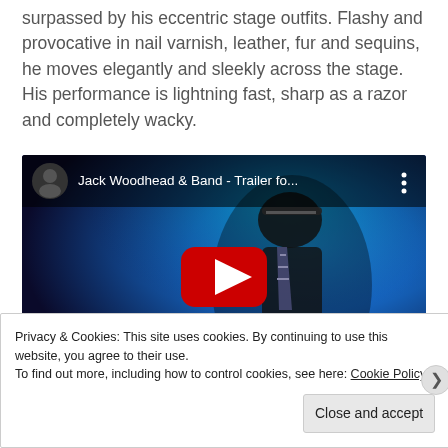surpassed by his eccentric stage outfits. Flashy and provocative in nail varnish, leather, fur and sequins, he moves elegantly and sleekly across the stage. His performance is lightning fast, sharp as a razor and completely wacky.
[Figure (screenshot): YouTube video thumbnail showing Jack Woodhead & Band - Trailer fo... with a performer on stage in blue lighting, with a red play button overlay]
Privacy & Cookies: This site uses cookies. By continuing to use this website, you agree to their use.
To find out more, including how to control cookies, see here: Cookie Policy
Close and accept